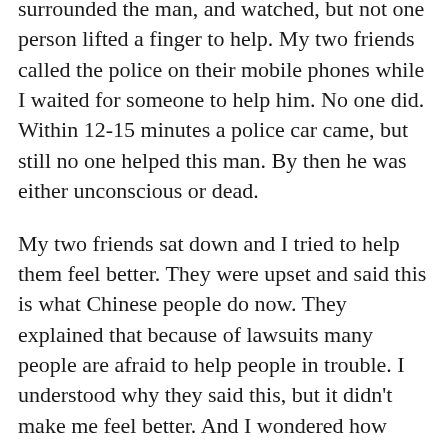surrounded the man, and watched, but not one person lifted a finger to help. My two friends called the police on their mobile phones while I waited for someone to help him. No one did. Within 12-15 minutes a police car came, but still no one helped this man. By then he was either unconscious or dead.
My two friends sat down and I tried to help them feel better. They were upset and said this is what Chinese people do now. They explained that because of lawsuits many people are afraid to help people in trouble. I understood why they said this, but it didn't make me feel better. And I wondered how such a caring society who treated me so warmly and wonderful could also have a dark side where fear and reprisal governed their actions. It was a huge contrast.